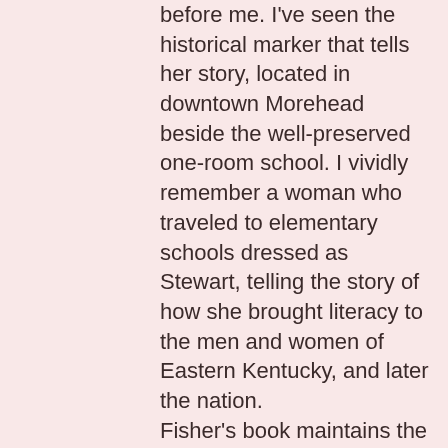before me. I've seen the historical marker that tells her story, located in downtown Morehead beside the well-preserved one-room school. I vividly remember a woman who traveled to elementary schools dressed as Stewart, telling the story of how she brought literacy to the men and women of Eastern Kentucky, and later the nation. Fisher's book maintains the basics of Cora Wilson Stewart's life and work but infuses a fictional account of a cousin, Lucy, who witnessed the birth of the Moonlight School movement. Of course, Lucy encounters romance.  Readers witness her character's growth and spiritual development along the way, all